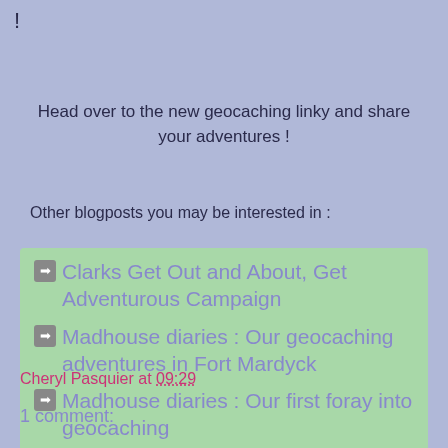!
Head over to the new geocaching linky and share your adventures !
Other blogposts you may be interested in :
Clarks Get Out and About, Get Adventurous Campaign
Madhouse diaries : Our geocaching adventures in Fort Mardyck
Madhouse diaries : Our first foray into geocaching
Cheryl Pasquier at 09:29
1 comment: